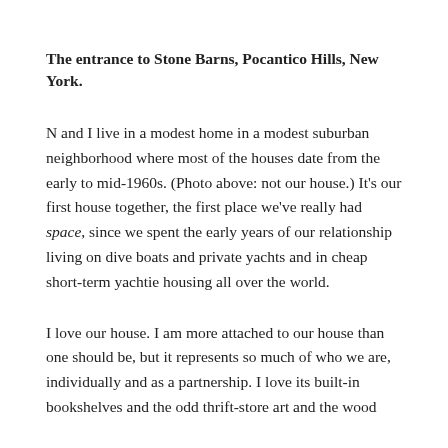The entrance to Stone Barns, Pocantico Hills, New York.
N and I live in a modest home in a modest suburban neighborhood where most of the houses date from the early to mid-1960s. (Photo above: not our house.) It's our first house together, the first place we've really had space, since we spent the early years of our relationship living on dive boats and private yachts and in cheap short-term yachtie housing all over the world.
I love our house. I am more attached to our house than one should be, but it represents so much of who we are, individually and as a partnership. I love its built-in bookshelves and the odd thrift-store art and the wood